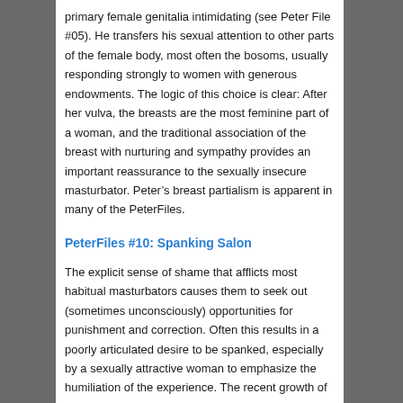primary female genitalia intimidating (see Peter File #05). He transfers his sexual attention to other parts of the female body, most often the bosoms, usually responding strongly to women with generous endowments. The logic of this choice is clear: After her vulva, the breasts are the most feminine part of a woman, and the traditional association of the breast with nurturing and sympathy provides an important reassurance to the sexually insecure masturbator. Peter's breast partialism is apparent in many of the PeterFiles.
PeterFiles #10: Spanking Salon
The explicit sense of shame that afflicts most habitual masturbators causes them to seek out (sometimes unconsciously) opportunities for punishment and correction. Often this results in a poorly articulated desire to be spanked, especially by a sexually attractive woman to emphasize the humiliation of the experience. The recent growth of commercial “spanking salons” may be largely driven by this phenomenon. While these non-accredited establishments are no substitute for